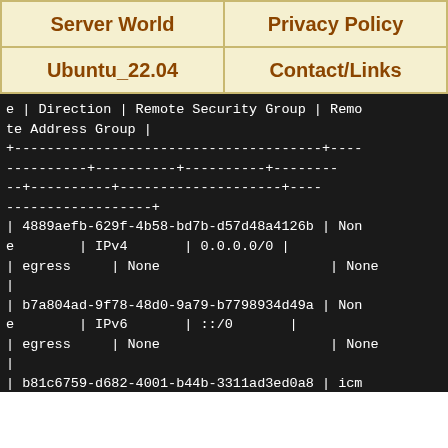| Server World | Privacy Policy |
| --- | --- |
| Ubuntu_22.04 | Contact/Links |
e | Direction | Remote Security Group | Remote Address Group |
+--------------------------------------+----
----------+----------+----------+----------+----
--+----------+--------------------+----
------------------+
| 4889aefb-629f-4b58-bd7b-d57d48a4126b | None       | IPv4       | 0.0.0.0/0 |
| egress     | None                           | None
|
| b7a804ad-9f78-48d0-9a79-b7798934d49a | None       | IPv6       | ::/0       |
| egress     | None                           | None
|
| b81c6759-d682-4001-b44b-3311ad3ed0a8 | icmp       | IPv4       | 0.0.0.0/0 |
| ingress    | None                           | None
|
| b9789baa-2a8e-4cf8-9fd3-5293c2746d99 | tcp